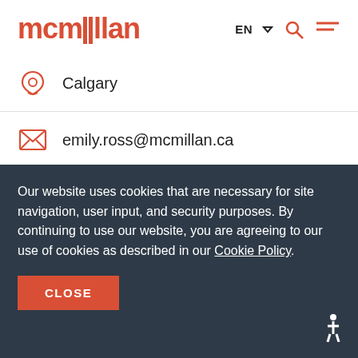mcmillan — EN navigation header
Calgary
emily.ross@mcmillan.ca
403.351.8305
[Figure (photo): Partial photo of a person's head at the bottom of the white content area]
Our website uses cookies that are necessary for site navigation, user input, and security purposes. By continuing to use our website, you are agreeing to our use of cookies as described in our Cookie Policy.
CLOSE